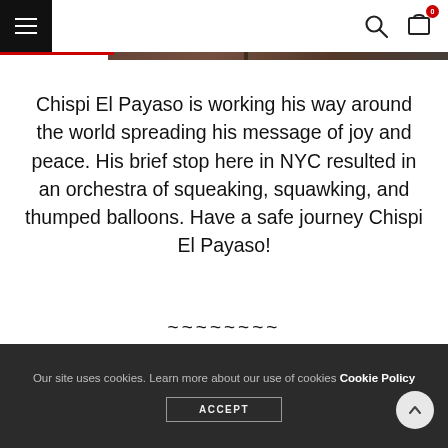Navigation header with hamburger menu, search icon, and cart icon (badge: 0)
[Figure (photo): Partial photo strip visible at top of page, brownish/dark tones]
Chispi El Payaso is working his way around the world spreading his message of joy and peace. His brief stop here in NYC resulted in an orchestra of squeaking, squawking, and thumped balloons. Have a safe journey Chispi El Payaso!
~~~~~~~~
Our site uses cookies. Learn more about our use of cookies Cookie Policy ACCEPT